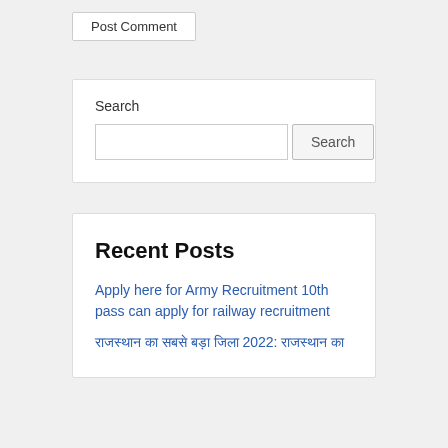Post Comment
Search
Recent Posts
Apply here for Army Recruitment 10th pass can apply for railway recruitment
राजस्थान का सबसे बड़ा जिला 2022: राजस्थान का